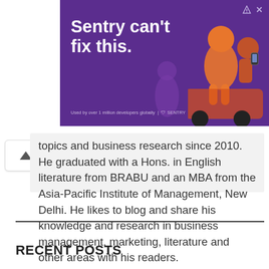[Figure (screenshot): Advertisement banner with purple background showing text 'Sentry can't fix this.' with illustrated figures on the right side and Sentry logo branding at bottom left.]
topics and business research since 2010. He graduated with a Hons. in English literature from BRABU and an MBA from the Asia-Pacific Institute of Management, New Delhi. He likes to blog and share his knowledge and research in business management, marketing, literature and other areas with his readers.
RECENT POSTS